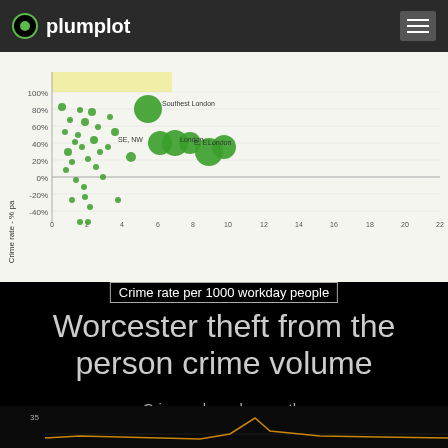plumplot
[Figure (continuous-plot): Bubble/scatter chart showing crime rate per 1000 workday people on x-axis vs crime rate percentage change on y-axis. Green bubbles of varying sizes represent different London regions. Notable labeled points include Southest London (~80% y, ~5 x), SE London central region (~40% y, ~6 x), and E. East London (~40% y, ~8-9 x). Y-axis ranges from -40% to 100%+, x-axis from 0 to 22.]
Crime rate per 1000 workday people
Worcester theft from the person crime volume
Crime volume by month.
[Figure (line-chart): Partial view of a line chart at bottom of page showing crime volume by month with an orange/amber line. Y-axis starts at 35. A spike is visible.]